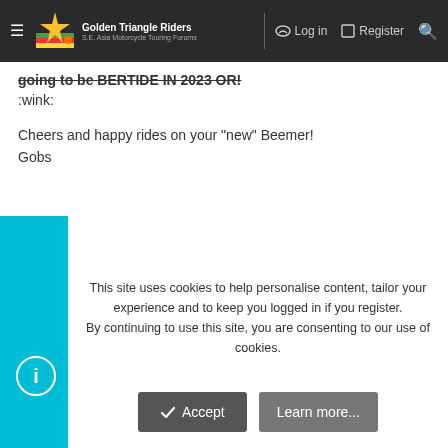Golden Triangle Riders — SE Asia Motorcycle Touring Forums | Log in | Register
going to be BERTIDE IN 2023 OR! :wink:

Cheers and happy rides on your "new" Beemer!
Gobs
You must log in or register to reply here.
Share:
General Discussion / News / Information
This site uses cookies to help personalise content, tailor your experience and to keep you logged in if you register.
By continuing to use this site, you are consenting to our use of cookies.
Accept
Learn more...